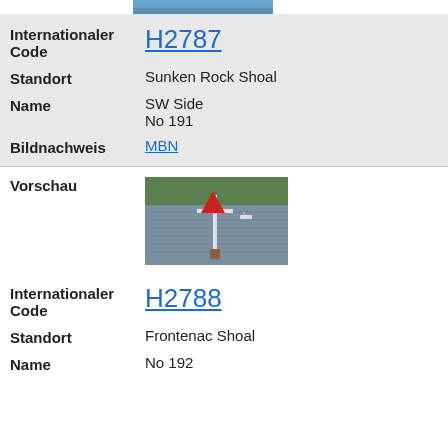[Figure (photo): Top portion of a navigation buoy photo (cropped)]
| Internationaler Code | H2787 |
| Standort | Sunken Rock Shoal |
| Name | SW Side
No 191 |
| Bildnachweis | MBN |
[Figure (photo): Navigation buoy marker on water with red triangle topmark, trees in background]
| Internationaler Code | H2788 |
| Standort | Frontenac Shoal |
| Name | No 192 |